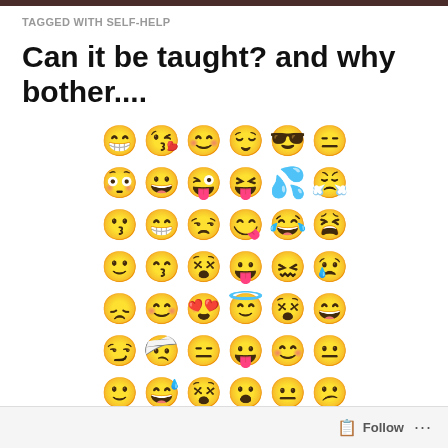TAGGED WITH SELF-HELP
Can it be taught? and why bother....
[Figure (illustration): A large grid of yellow emoji faces showing various expressions including happy, sad, angry, surprised, loving, sleeping, and many other emotions. Arranged in roughly 9 rows of 6 emojis each.]
Follow ...